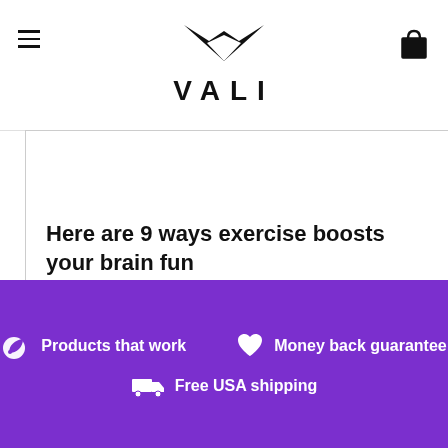VALI
Here are 9 ways exercise boosts your brain fun
Products that work   Money back guarantee   Free USA shipping